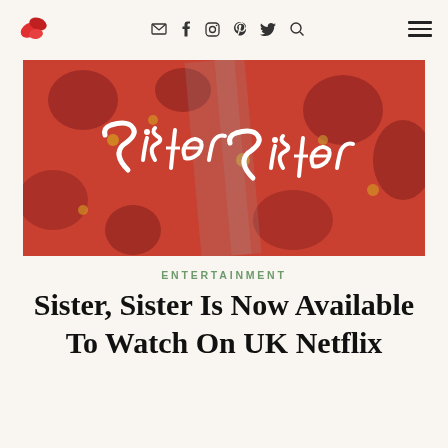Navigation header with logo, social icons (email, facebook, instagram, pinterest, twitter, search), and hamburger menu
[Figure (photo): A photo showing a 'Sister Sister' logo in white cursive lettering over red and dark floral fabric.]
ENTERTAINMENT
Sister, Sister Is Now Available To Watch On UK Netflix